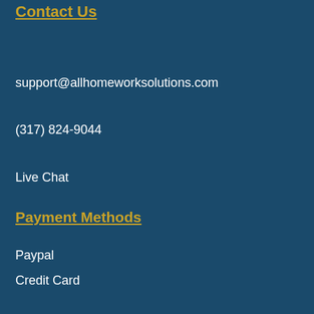Contact Us
support@allhomeworksolutions.com
(317) 824-9044
Live Chat
Payment Methods
Paypal
Credit Card
Cryptocurrency
Wire Transfer